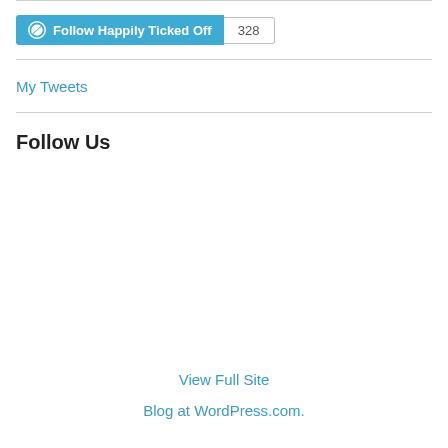[Figure (other): WordPress Follow button widget showing 'Follow Happily Ticked Off' with WordPress logo in teal, and a follower count badge showing 328]
My Tweets
Follow Us
View Full Site
Blog at WordPress.com.